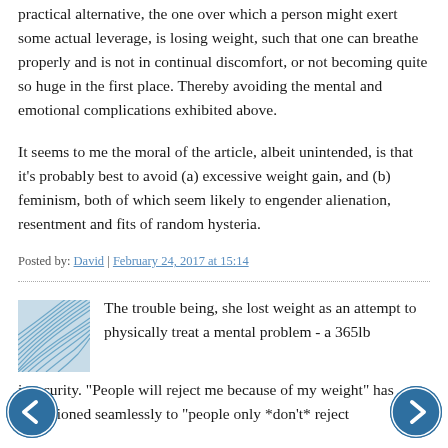practical alternative, the one over which a person might exert some actual leverage, is losing weight, such that one can breathe properly and is not in continual discomfort, or not becoming quite so huge in the first place. Thereby avoiding the mental and emotional complications exhibited above.
It seems to me the moral of the article, albeit unintended, is that it's probably best to avoid (a) excessive weight gain, and (b) feminism, both of which seem likely to engender alienation, resentment and fits of random hysteria.
Posted by: David | February 24, 2017 at 15:14
[Figure (illustration): Small square avatar image with blue layered wave/fan pattern design]
The trouble being, she lost weight as an attempt to physically treat a mental problem - a 365lb insecurity. "People will reject me because of my weight" has transitioned seamlessly to "people only *don't* reject